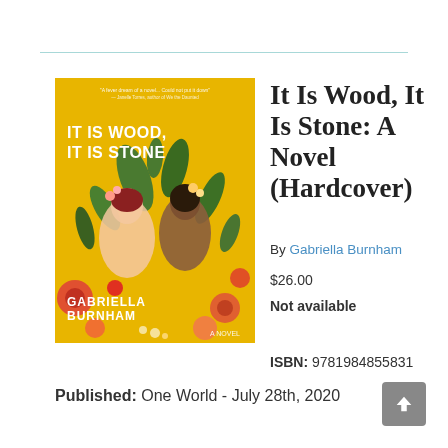[Figure (illustration): Book cover: 'IT IS WOOD, IT IS STONE' by Gabriella Burnham. Yellow background with illustrated women among flowers and foliage.]
It Is Wood, It Is Stone: A Novel (Hardcover)
By Gabriella Burnham
$26.00
Not available
ISBN: 9781984855831
Published: One World - July 28th, 2020